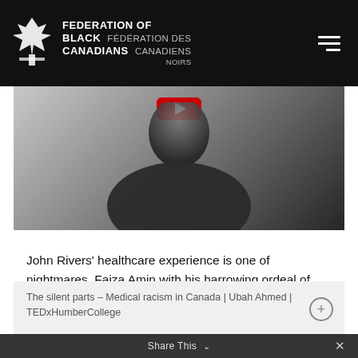FEDERATION OF BLACK CANADIANS  FÉDÉRATION DES CANADIENS NOIRS
[Figure (screenshot): Video thumbnail showing a person with a red YouTube play button overlay, dark blurred background]
John Rivers' healthcare experience is one of nightmares. Faiza Amin with his harrowing ordeal of misdiagnosis and lack of proper care and his belief that racial bias was a factor in his treatment.
The silent parts – Medical racism in Canada | Ubah Ahmed | TEDxHumberCollege
Share This